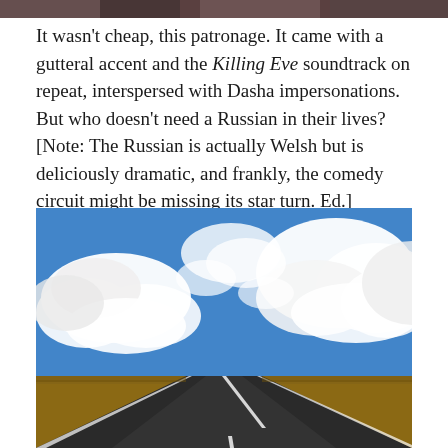[Figure (photo): Partial top strip of a photo, appears to show people or figures, cut off at top of page]
It wasn't cheap, this patronage. It came with a gutteral accent and the Killing Eve soundtrack on repeat, interspersed with Dasha impersonations. But who doesn't need a Russian in their lives? [Note: The Russian is actually Welsh but is deliciously dramatic, and frankly, the comedy circuit might be missing its star turn. Ed.]
[Figure (photo): Landscape photo of a long straight road stretching toward the horizon through flat scrubland, with a dramatic blue sky filled with large white cumulus clouds above.]